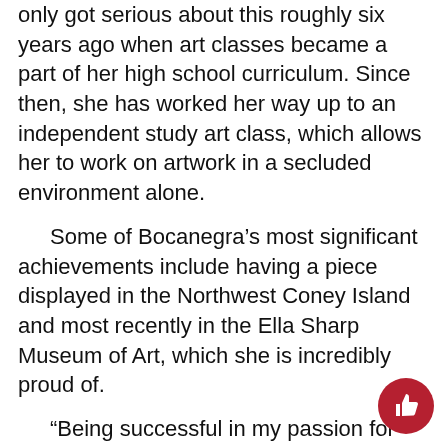only got serious about this roughly six years ago when art classes became a part of her high school curriculum. Since then, she has worked her way up to an independent study art class, which allows her to work on artwork in a secluded environment alone.
Some of Bocanegra's most significant achievements include having a piece displayed in the Northwest Coney Island and most recently in the Ella Sharp Museum of Art, which she is incredibly proud of.
“Being successful in my passion for artwork is so important to me because I want my pieces to be someday hanging up in a gallery. It catches someone’s eye, and they look to the creator and see  Sophie Bocanegra,” said Bocanegra.
High school teacher Julie Evers, who has been Bocanegra’s art advisor for four years, has been one the key factors in helping her grow in her skillset...